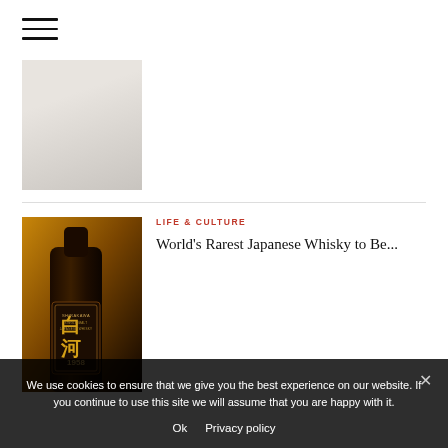[Figure (other): Hamburger/menu icon with three horizontal lines]
[Figure (photo): Partial photo of a light gray/beige surface or dish, cropped at top]
[Figure (photo): Dark atmospheric photo of a Shirakawa Single Malt Japanese Whisky 1958 bottle on golden/dark background]
LIFE & CULTURE
World's Rarest Japanese Whisky to Be...
We use cookies to ensure that we give you the best experience on our website. If you continue to use this site we will assume that you are happy with it.
Ok   Privacy policy